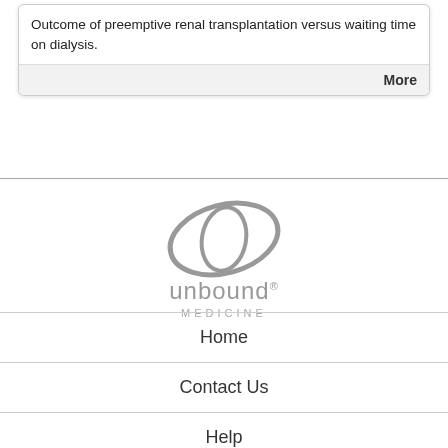Outcome of preemptive renal transplantation versus waiting time on dialysis.
More
[Figure (logo): Unbound Medicine logo — stylized oval/ellipse icon in gray above the text 'unbound MEDICINE']
Home
Contact Us
Help
Privacy / Disclaimer